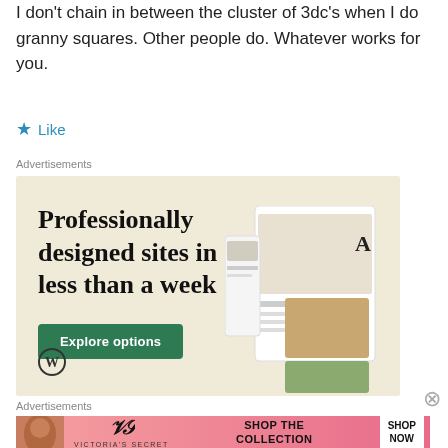I don't chain in between the cluster of 3dc's when I do granny squares. Other people do. Whatever works for you.
Like
Advertisements
[Figure (screenshot): WordPress advertisement: 'Professionally designed sites in less than a week' with Explore options button and website mockup images on beige background]
Advertisements
[Figure (screenshot): Victoria's Secret advertisement: 'SHOP THE COLLECTION' with SHOP NOW button on pink gradient background with model photo]